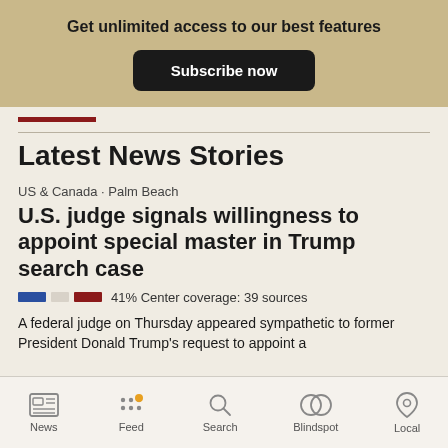Get unlimited access to our best features
Subscribe now
Latest News Stories
US & Canada · Palm Beach
U.S. judge signals willingness to appoint special master in Trump search case
41% Center coverage: 39 sources
A federal judge on Thursday appeared sympathetic to former President Donald Trump's request to appoint a
News  Feed  Search  Blindspot  Local